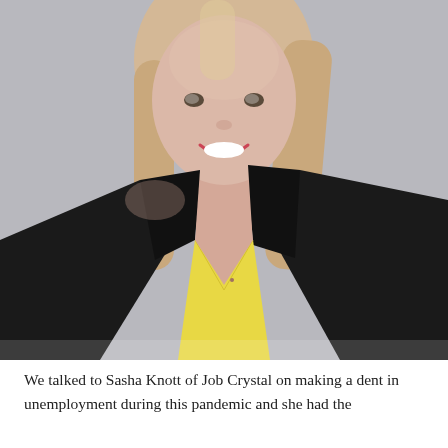[Figure (photo): Professional headshot of a smiling woman with blonde hair, wearing a black blazer over a yellow V-neck top, photographed against a light grey background.]
We talked to Sasha Knott of Job Crystal on making a dent in unemployment during this pandemic and she had the